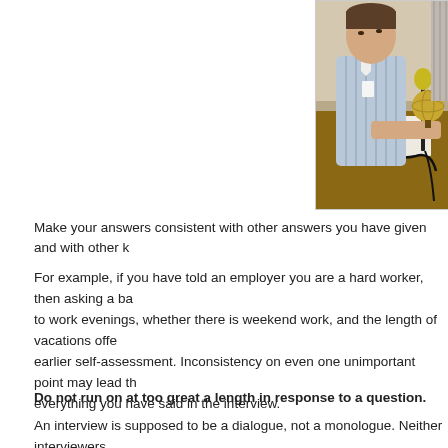[Figure (photo): A man in a light blue striped shirt sitting at a conference table with microphones, papers, and a golden globe ornament in front of him. Other people are partially visible.]
Make your answers consistent with other answers you have given and with other k
For example, if you have told an employer you are a hard worker, then asking a ba to work evenings, whether there is weekend work, and the length of vacations offe earlier self-assessment. Inconsistency on even one unimportant point may lead th everything you have said in the interview.
Do not run on at too great a length in response to a question.
An interview is supposed to be a dialogue, not a monologue. Neither interviewers which the other does almost all of the talking. Running on and on (and on) is a bre
If you think you might be going on too long, cut your answer short. If the other per a follow-up question. Experienced interviewers and interviewees can gauge whet